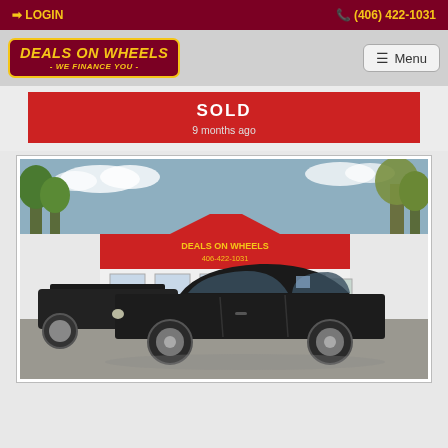LOGIN | (406) 422-1031
[Figure (logo): Deals on Wheels - We Finance You - dealership logo, dark red background with yellow text and border]
Menu
SOLD
9 months ago
[Figure (photo): Black sedan (Pontiac G6 or similar) parked in front of Deals on Wheels dealership building with red awning showing Deals on Wheels and 406-422-1031]